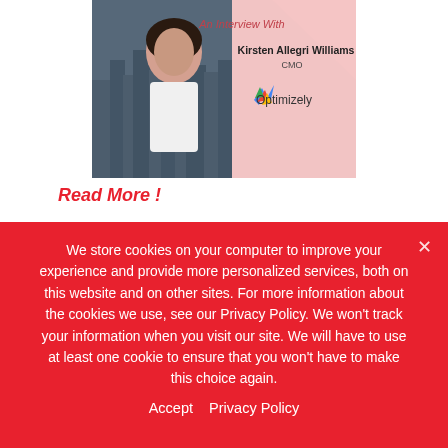[Figure (illustration): Interview card showing a woman in a white blazer against a city skyline background with pink diamond shapes. Text reads 'An Interview With Kirsten Allegri Williams CMO' and the Optimizely logo.]
Read More !
Embedded into the marketing strategy, continuous experimentation can drive informed, data-driven decisions that will create stand-out customer experiences. This idea of marrying the science of data with the art of marketing creativity is so important! Yet,
We store cookies on your computer to improve your experience and provide more personalized services, both on this website and on other sites. For more information about the cookies we use, see our Privacy Policy. We won't track your information when you visit our site. We will have to use at least one cookie to ensure that you won't have to make this choice again.
Accept   Privacy Policy